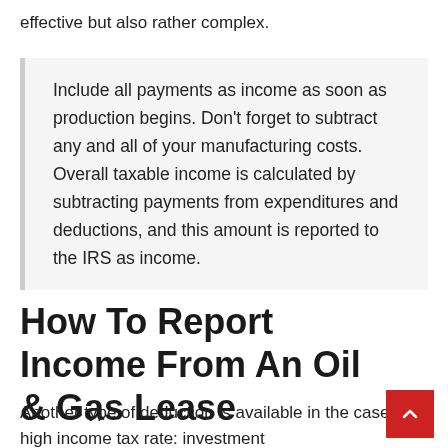effective but also rather complex.
Include all payments as income as soon as production begins. Don't forget to subtract any and all of your manufacturing costs. Overall taxable income is calculated by subtracting payments from expenditures and deductions, and this amount is reported to the IRS as income.
How To Report Income From An Oil & Gas Lease
Another type of deduction is available in the case of a high income tax rate: investment